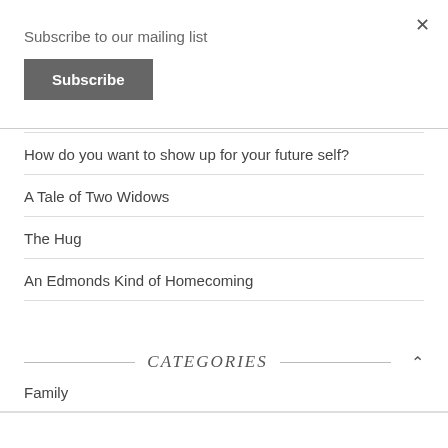×
Subscribe to our mailing list
Subscribe
How do you want to show up for your future self?
A Tale of Two Widows
The Hug
An Edmonds Kind of Homecoming
CATEGORIES
Family